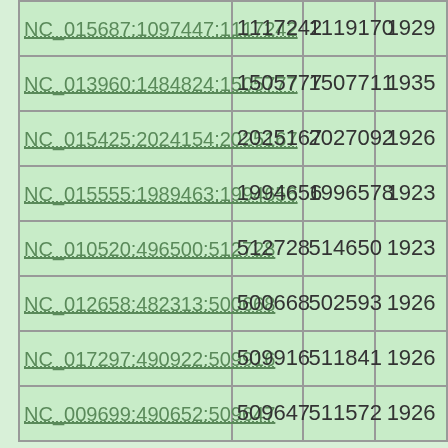| ID | Col1 | Col2 | Col3 |
| --- | --- | --- | --- |
| NC_015687:1097447:1117242 | 1117242 | 1119170 | 1929 |
| NC_013960:1484824:1505777 | 1505777 | 1507711 | 1935 |
| NC_015425:2024154:2025167 | 2025167 | 2027092 | 1926 |
| NC_015555:1989463:1994656 | 1994656 | 1996578 | 1923 |
| NC_010520:496500:512728 | 512728 | 514650 | 1923 |
| NC_012658:482313:500668 | 500668 | 502593 | 1926 |
| NC_017297:490922:509916 | 509916 | 511841 | 1926 |
| NC_009699:490652:509647 | 509647 | 511572 | 1926 |